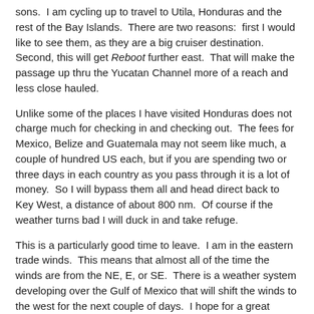sons.  I am cycling up to travel to Utila, Honduras and the rest of the Bay Islands.  There are two reasons:  first I would like to see them, as they are a big cruiser destination.  Second, this will get Reboot further east.  That will make the passage up thru the Yucatan Channel more of a reach and less close hauled.
Unlike some of the places I have visited Honduras does not charge much for checking in and checking out.  The fees for Mexico, Belize and Guatemala may not seem like much, a couple of hundred US each, but if you are spending two or three days in each country as you pass through it is a lot of money.  So I will bypass them all and head direct back to Key West, a distance of about 800 nm.  Of course if the weather turns bad I will duck in and take refuge.
This is a particularly good time to leave.  I am in the eastern trade winds.  This means that almost all of the time the winds are from the NE, E, or SE.  There is a weather system developing over the Gulf of Mexico that will shift the winds to the west for the next couple of days.  I hope for a great downwind run to the Bay Islands.